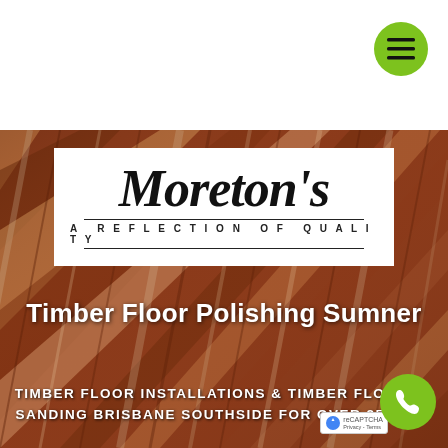[Figure (photo): Polished hardwood timber floor with rich red-brown tones and wood grain stripes running diagonally, serving as hero background image]
[Figure (logo): Moreton's logo — cursive script 'Moreton's' in black with tagline 'A REFLECTION OF QUALITY' in spaced capitals, on white background]
Timber Floor Polishing Sumner
TIMBER FLOOR INSTALLATIONS & TIMBER FLOOR SANDING BRISBANE SOUTHSIDE FOR OVER 25